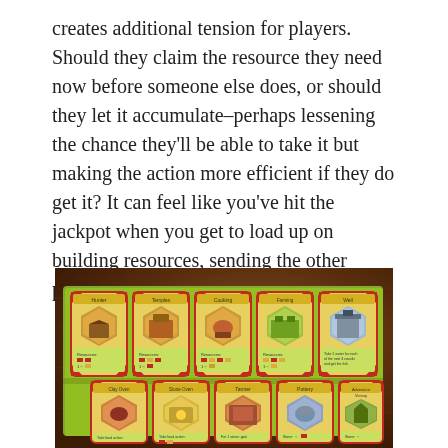creates additional tension for players. Should they claim the resource they need now before someone else does, or should they let it accumulate–perhaps lessening the chance they'll be able to take it but making the action more efficient if they do get it? It can feel like you've hit the jackpot when you get to load up on building resources, sending the other players home empty handed.
[Figure (photo): A board game layout photographed on a wooden table. Multiple game cards are arranged in two rows on a green game board. The cards feature red decorative borders with hexagonal artwork sections and yellow/green text areas. Top row has 5 cards and bottom row shows 5 partially visible cards.]